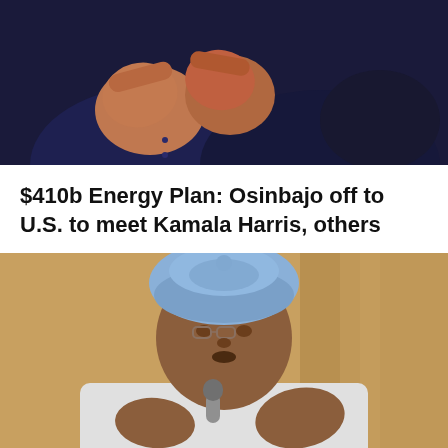[Figure (photo): Photo of a person gesturing with raised fists, wearing a dark navy suit, against a dark background]
$410b Energy Plan: Osinbajo off to U.S. to meet Kamala Harris, others
[Figure (photo): Photo of a man in traditional Nigerian attire (white kaftan) and light blue cap, holding a microphone and speaking, with a warm brown background]